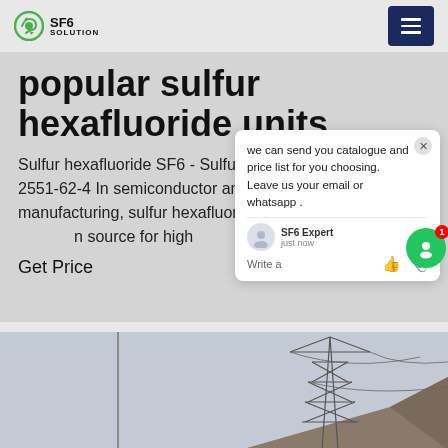SF6 SOLUTION
popular sulfur hexafluoride units
Sulfur hexafluoride SF6 - Sulfur fluo... 0 - 2551-62-4 In semiconductor and dis... manufacturing, sulfur hexafluoride p... n source for high
Get Price
[Figure (screenshot): Chat popup overlay with message: 'we can send you catalogue and price list for you choosing. Leave us your email or whatsapp.' With SF6 Expert agent, just now timestamp, and write/attach icons.]
[Figure (photo): Bottom portion of page showing a power transmission tower (pylon) silhouette against a grey sky with a rooftop in the lower right corner.]